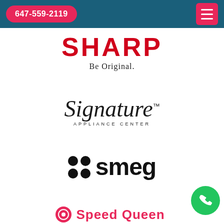647-559-2119
[Figure (logo): SHARP logo with tagline 'Be Original.']
[Figure (logo): Signature Appliance Center cursive script logo]
[Figure (logo): Smeg logo with four dot graphic and bold lowercase text]
[Figure (logo): Speed Queen logo partially visible at bottom of page]
[Figure (other): Phone call floating action button (green circle with phone icon) at bottom right]